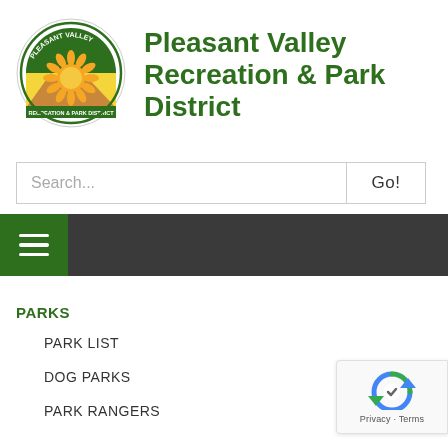[Figure (logo): Pleasant Valley Recreation & Park District circular logo with sun and mountains]
Pleasant Valley Recreation & Park District
[Figure (screenshot): Search bar with text input area and 'Go!' button]
[Figure (screenshot): Dark navigation bar with green hamburger menu button]
PARKS
PARK LIST
DOG PARKS
PARK RANGERS